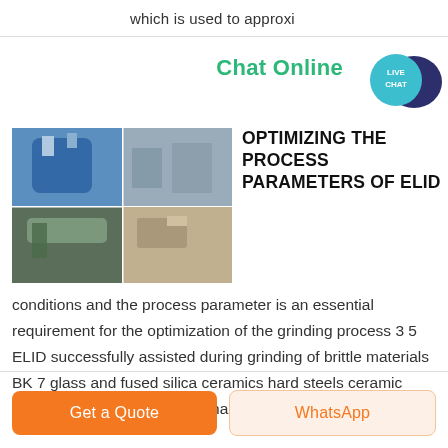which is used to approxi
Chat Online
[Figure (photo): Four-panel collage of industrial grinding/manufacturing equipment — top left shows large blue industrial vessel, top right shows factory interior, bottom left shows worker with industrial pipe, bottom right shows machinery.]
OPTIMIZING THE PROCESS PARAMETERS OF ELID
conditions and the process parameter is an essential requirement for the optimization of the grinding process 3 5 ELID successfully assisted during grinding of brittle materials BK 7 glass and fused silica ceramics hard steels ceramic coatings etc having various shapes
Get a Quote
WhatsApp